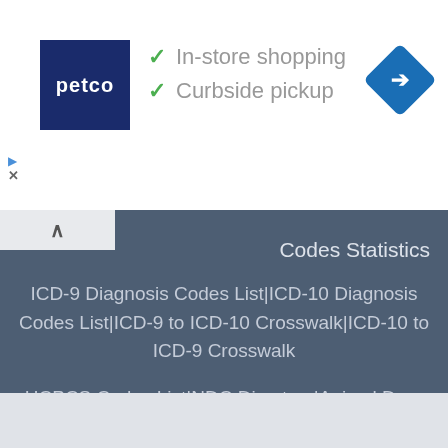[Figure (screenshot): Petco advertisement banner with logo, checkmarks for In-store shopping and Curbside pickup, and a blue diamond navigation icon]
✓ In-store shopping
✓ Curbside pickup
Codes Statistics
ICD-9 Diagnosis Codes List|ICD-10 Diagnosis Codes List|ICD-9 to ICD-10 Crosswalk|ICD-10 to ICD-9 Crosswalk
HCPCS Codes List|NDC Directory|Animal Drug Products Directory
NPI Sync | FAQs | Privacy Policy Terms of Service | Disclaimer